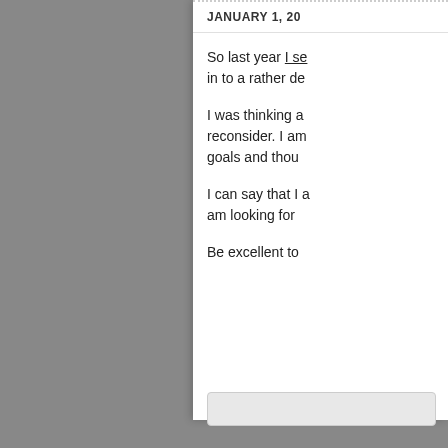JANUARY 1, 20
So last year I se... in to a rather de...
I was thinking a... reconsider. I am... goals and thou...
I can say that I a... am looking for...
Be excellent to...